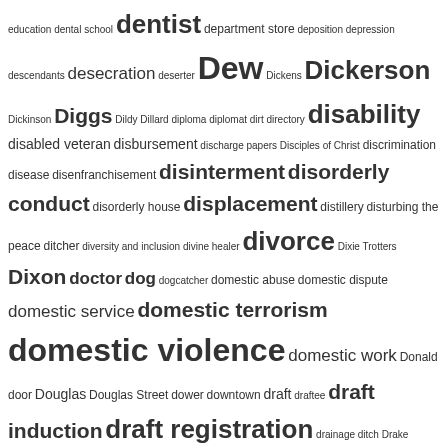[Figure (other): Tag cloud / word cloud showing various terms related to genealogy and history research topics. Terms displayed in varying font sizes indicating frequency or importance. Terms include: education, dental school, dentist, department store, deposition, depression, descendants, desecration, deserter, Dew, Dickens, Dickerson, Dickinson, Diggs, Dildy, Dillard, diploma, diplomat, dirt, directory, disability, disabled veteran, disbursement, discharge papers, Disciples of Christ, discrimination, disease, disenfranchisement, disinterment, disorderly conduct, disorderly house, displacement, distillery, disturbing the peace, ditcher, diversity and inclusion, divine healer, divorce, Dixie Trotters, Dixon, doctor, dog, dogcatcher, domestic abuse, domestic dispute, domestic service, domestic terrorism, domestic violence, domestic work, Donald, door, Douglas, Douglas Street, dower, downtown, draft, draftee, draft induction, draft registration, drainage ditch, Drake, drayman, dressmaker, Drewry, drive-by shooting, driver, drought, drowning, drug bust, druggist, drugstore, drum, drummer, drunk driving, dry cleaner, dry goods merchant, DuBissette, Dublin, Dudley, dumping, Dunn, Dunstan, Dunston, duplex, Duplin County NC, Dupree, Durant, Durham NC, Duroc-Jersey, Earle, Earp, easement, Easter, Eastern North Carolina Insane Asylum, East Green Street, East Nash Street, East Street, East...]